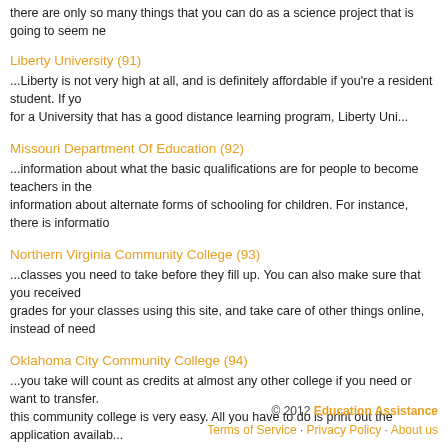there are only so many things that you can do as a science project that is going to seem ne
Liberty University (91)
...Liberty is not very high at all, and is definitely affordable if you're a resident student. If you for a University that has a good distance learning program, Liberty Uni...
Missouri Department Of Education (92)
...information about what the basic qualifications are for people to become teachers in the information about alternate forms of schooling for children. For instance, there is informatio
Northern Virginia Community College (93)
...classes you need to take before they fill up. You can also make sure that you received grades for your classes using this site, and take care of other things online, instead of need
Oklahoma City Community College (94)
...you take will count as credits at almost any other college if you need or want to transfer. this community college is very easy. All you have to do is print out the application availab...
Part Time Jobs For College Students (95)
...looking for a part time job of some sort. If you're having trouble finding a part time job, c There are a lot of places where you can look that you might not have thought of ...
🖹 Permalink to College Football Scores
© 2012 Education Assistance · Terms of Service · Privacy Policy · About us